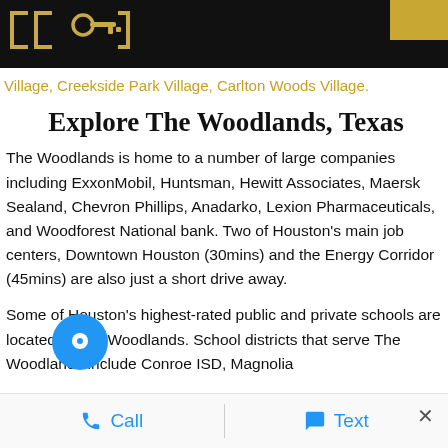[Figure (logo): Dark header bar with decorative bracket logo in gold and a gold rectangle in top-right corner]
Village, Creekside Park Village, Carlton Woods Village.
Explore The Woodlands, Texas
The Woodlands is home to a number of large companies including ExxonMobil, Huntsman, Hewitt Associates, Maersk Sealand, Chevron Phillips, Anadarko, Lexion Pharmaceuticals, and Woodforest National bank. Two of Houston's main job centers, Downtown Houston (30mins) and the Energy Corridor (45mins) are also just a short drive away.
Some of Houston's highest-rated public and private schools are located in The Woodlands. School districts that serve The Woodlands include Conroe ISD, Magnolia
Call   Text